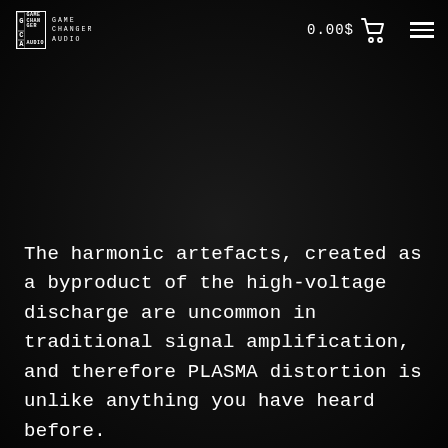Game Changer Audio — 0.00$
The harmonic artefacts, created as a byproduct of the high-voltage discharge are uncommon in traditional signal amplification, and therefore PLASMA distortion is unlike anything you have heard before.